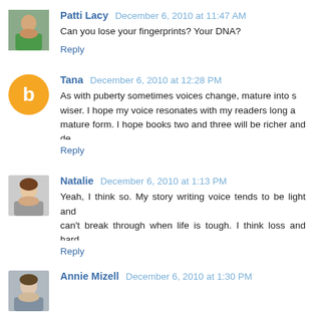Patti Lacy  December 6, 2010 at 11:47 AM
Can you lose your fingerprints? Your DNA?
Reply
Tana  December 6, 2010 at 12:28 PM
As with puberty sometimes voices change, mature into s... wiser. I hope my voice resonates with my readers long a... mature form. I hope books two and three will be richer and de...
Reply
Natalie  December 6, 2010 at 1:13 PM
Yeah, I think so. My story writing voice tends to be light and... can't break through when life is tough. I think loss and hard... squelch our voices for a little while. I feel like I'm finally getting...
Reply
Annie Mizell  December 6, 2010 at 1:30 PM